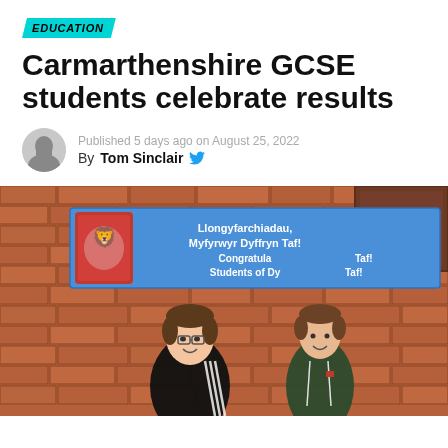EDUCATION
Carmarthenshire GCSE students celebrate results
Published 5 days ago on August 25, 2022
By Tom Sinclair
[Figure (photo): Two teenage male students standing in front of a brick wall with a blue congratulations banner reading 'Llongyfarchiadau, Myfyrwyr Dyffryn Taf! Congratulations Students of Dyffryn Taf!']